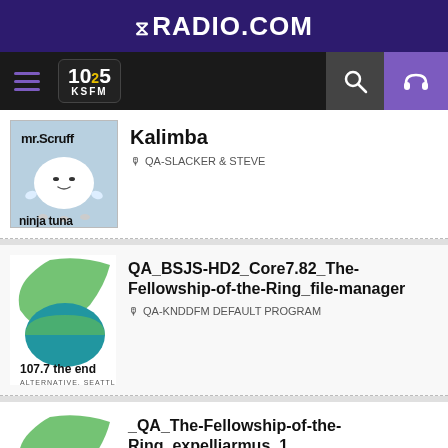RADIO.COM
[Figure (logo): 1025 KSFM radio station logo in nav bar]
[Figure (illustration): Mr. Scruff - Ninja Tuna album art showing a white blob fish character]
Kalimba
🎙 QA-SLACKER & STEVE
[Figure (logo): 107.7 The End Alternative Seattle radio station logo]
QA_BSJS-HD2_Core7.82_The-Fellowship-of-the-Ring_file-manager
🎙 QA-KNDDFM DEFAULT PROGRAM
[Figure (logo): 107.7 The End Alternative Seattle radio station logo (partial)]
_QA_The-Fellowship-of-the-Ring_expelliarmus_1
🎙 QA-KNDDAFM DEFAULT PROGRAM